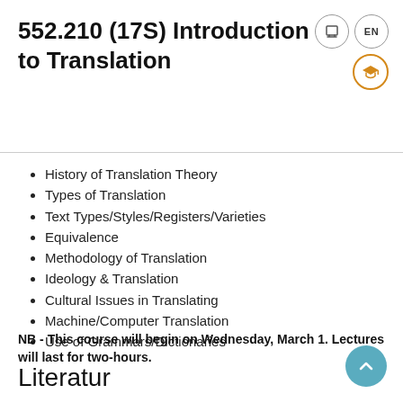552.210 (17S) Introduction to Translation
History of Translation Theory
Types of Translation
Text Types/Styles/Registers/Varieties
Equivalence
Methodology of Translation
Ideology & Translation
Cultural Issues in Translating
Machine/Computer Translation
Use of Grammars/Dictionaries
NB - This course will begin on Wednesday, March 1. Lectures will last for two-hours.
Literatur